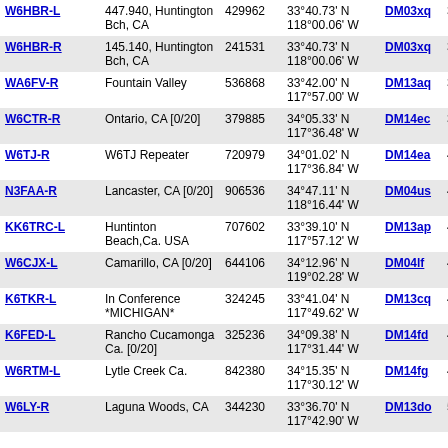| Callsign | Location | ID | Coordinates | Grid | Dist | Freq |
| --- | --- | --- | --- | --- | --- | --- |
| W6HBR-L | 447.940, Huntington Bch, CA | 429962 | 33°40.73' N 118°00.06' W | DM03xq | 38.9 | 447.9 |
| W6HBR-R | 145.140, Huntington Bch, CA | 241531 | 33°40.73' N 118°00.06' W | DM03xq | 38.9 | 145.14 |
| WA6FV-R | Fountain Valley | 536868 | 33°42.00' N 117°57.00' W | DM13aq | 39.0 |  |
| W6CTR-R | Ontario, CA [0/20] | 379885 | 34°05.33' N 117°36.48' W | DM14ec | 39.7 |  |
| W6TJ-R | W6TJ Repeater | 720979 | 34°01.02' N 117°36.84' W | DM14ea | 40.6 | 146.88 |
| N3FAA-R | Lancaster, CA [0/20] | 906536 | 34°47.11' N 118°16.44' W | DM04us | 41.4 |  |
| KK6TRC-L | Huntinton Beach,Ca. USA | 707602 | 33°39.10' N 117°57.12' W | DM13ap | 41.9 | 146.55 |
| W6CJX-L | Camarillo, CA [0/20] | 644106 | 34°12.96' N 119°02.28' W | DM04lf | 42.7 |  |
| K6TKR-L | In Conference *MICHIGAN* | 324245 | 33°41.04' N 117°49.62' W | DM13cq | 43.9 |  |
| K6FED-L | Rancho Cucamonga Ca. [0/20] | 325236 | 34°09.38' N 117°31.44' W | DM14fd | 44.0 |  |
| W6RTM-L | Lytle Creek Ca. | 842380 | 34°15.35' N 117°30.12' W | DM14fg | 45.4 | 144.95 |
| W6LY-R | Laguna Woods, CA | 344230 | 33°36.70' N 117°42.90' W | DM13do | 51.8 | 147.62 |